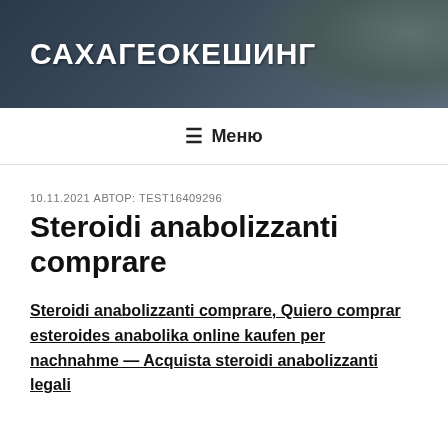САХАГЕОКЕШИНГ
≡ Меню
10.11.2021 АВТОР: TEST16409296
Steroidi anabolizzanti comprare
Steroidi anabolizzanti comprare, Quiero comprar esteroides anabolika online kaufen per nachnahme — Acquista steroidi anabolizzanti legali